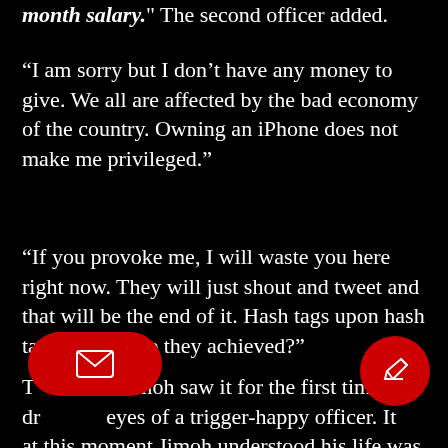month salary." The second officer added.
“I am sorry but I don’t have any money to give. We all are affected by the bad economy of the country. Owning an iPhone does not make me privileged.”
“If you provoke me, I will waste you here right now. They will just shout and tweet and that will be the end of it. Hash tags upon hash tags, what have they achieved?”
T…s. Jimoh saw it for the first time… d…… eyes of a trigger-happy officer. It… at this moment Jimoh understood his life was